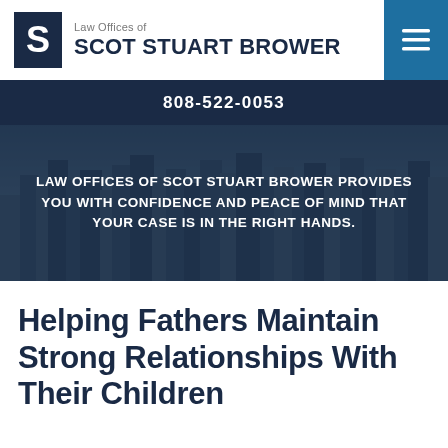Law Offices of SCOT STUART BROWER
808-522-0053
[Figure (photo): City skyline background image with dark blue overlay and white uppercase text reading: LAW OFFICES OF SCOT STUART BROWER PROVIDES YOU WITH CONFIDENCE AND PEACE OF MIND THAT YOUR CASE IS IN THE RIGHT HANDS.]
Helping Fathers Maintain Strong Relationships With Their Children